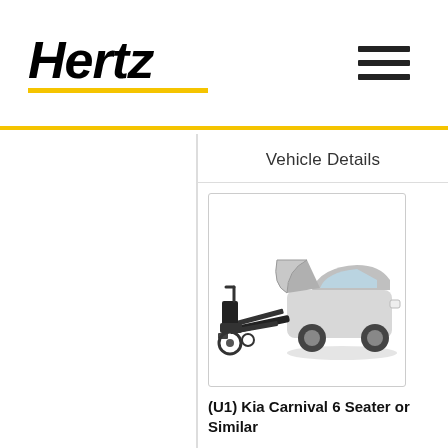Hertz
Vehicle Details
[Figure (photo): Wheelchair accessible vehicle with ramp deployed, showing a silver Kia Carnival SUV with rear lift/ramp mechanism and a manual wheelchair beside it]
(U1) Kia Carnival 6 Seater or Similar
Radio, CD, Central Locking, Cruise Control, Driver Airbag, Dual Airbags, Dual Mirrors, Power Mirrors, Power Steering, Power Windows, Tilt Steering, V6 Engine
Vehicle Details